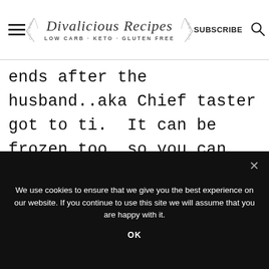Divalicious Recipes LOW CARB - KETO - GLUTEN FREE | SUBSCRIBE
ends after the husband..aka Chief taster got to ti.  It can be frozen too, so you can make this ahead for bread emergencies!
We use cookies to ensure that we give you the best experience on our website. If you continue to use this site we will assume that you are happy with it.
OK